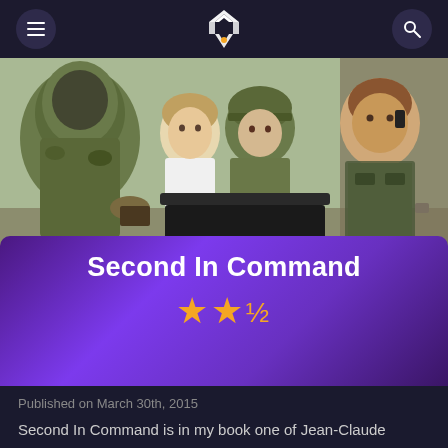Navigation header with menu, logo, and search
[Figure (photo): Scene from the movie 'Second In Command' showing soldiers and a man in a suit seated around a table, one man in camouflage hood in foreground, a soldier with helmet in center, and a muscular man on phone at right]
Second In Command
★★½
Published on March 30th, 2015
Second In Command is in my book one of Jean-Claude